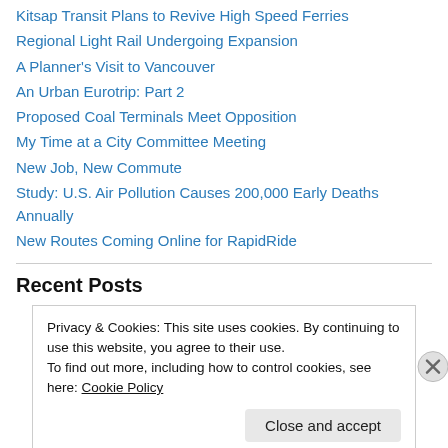Kitsap Transit Plans to Revive High Speed Ferries
Regional Light Rail Undergoing Expansion
A Planner's Visit to Vancouver
An Urban Eurotrip: Part 2
Proposed Coal Terminals Meet Opposition
My Time at a City Committee Meeting
New Job, New Commute
Study: U.S. Air Pollution Causes 200,000 Early Deaths Annually
New Routes Coming Online for RapidRide
Recent Posts
Privacy & Cookies: This site uses cookies. By continuing to use this website, you agree to their use.
To find out more, including how to control cookies, see here: Cookie Policy
Close and accept